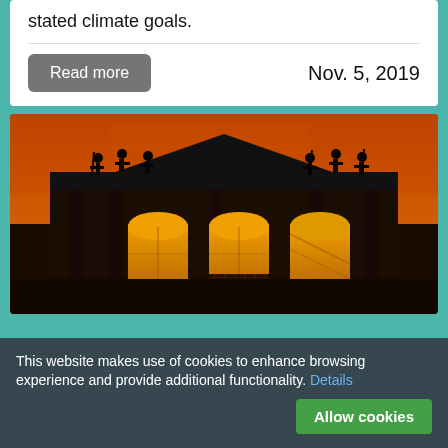stated climate goals.
Read more
Nov. 5, 2019
[Figure (photo): Silhouettes of statues on top of a neoclassical building against an orange/red sky, with three illuminated arched windows visible on the facade below]
This website makes use of cookies to enhance browsing experience and provide additional functionality. Details
Allow cookies